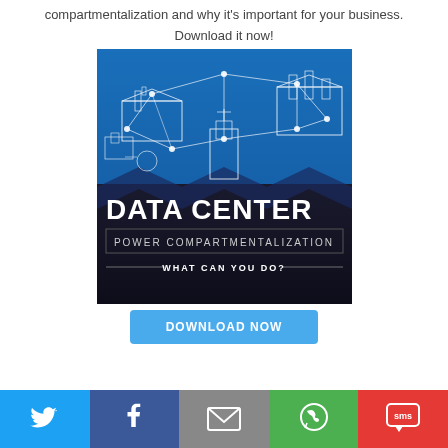compartmentalization and why it's important for your business.
Download it now!
[Figure (illustration): Data Center Power Compartmentalization promotional image with isometric blue network diagram on top and bold text 'DATA CENTER POWER COMPARTMENTALIZATION WHAT CAN YOU DO?' on dark bottom half]
DOWNLOAD NOW
Social share bar with Twitter, Facebook, Email, WhatsApp, SMS icons